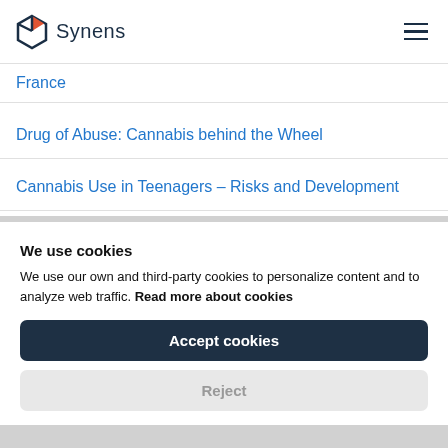Synens
France
Drug of Abuse: Cannabis behind the Wheel
Cannabis Use in Teenagers – Risks and Development
We use cookies
We use our own and third-party cookies to personalize content and to analyze web traffic. Read more about cookies
Accept cookies
Reject